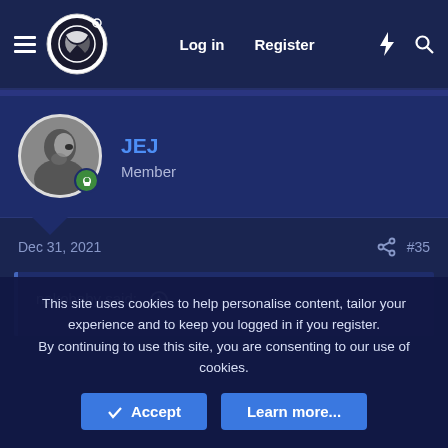Log in  Register
JEJ
Member
Dec 31, 2021  #35
nekobaby said: ↑
This site uses cookies to help personalise content, tailor your experience and to keep you logged in if you register.
By continuing to use this site, you are consenting to our use of cookies.
✓ Accept   Learn more...